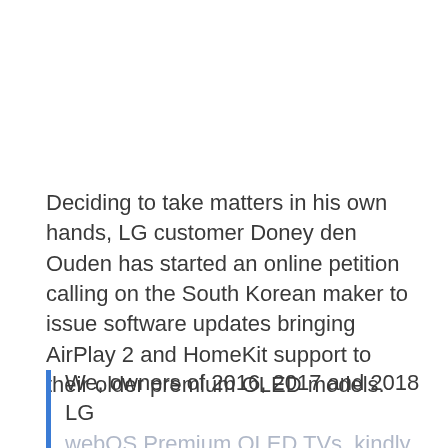Deciding to take matters in his own hands, LG customer Doney den Ouden has started an online petition calling on the South Korean maker to issue software updates bringing AirPlay 2 and HomeKit support to their older premium OLED models.
We, owners of 2016, 2017 and 2018 LG webOS Premium OLED TVs, kindly request LG Electronics Inc. to bring the AirPlay 2 and